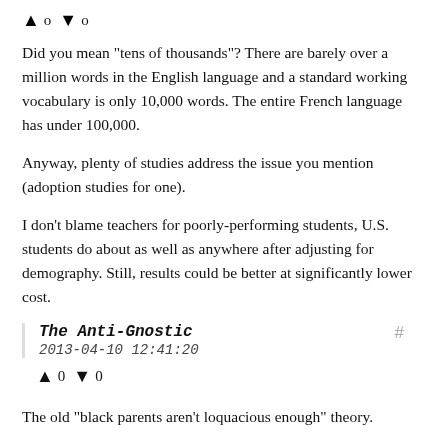↑ o ↓ o
Did you mean "tens of thousands"? There are barely over a million words in the English language and a standard working vocabulary is only 10,000 words. The entire French language has under 100,000.
Anyway, plenty of studies address the issue you mention (adoption studies for one).
I don't blame teachers for poorly-performing students, U.S. students do about as well as anywhere after adjusting for demography. Still, results could be better at significantly lower cost.
The Anti-Gnostic
2013-04-10 12:41:20
↑ 0 ↓ 0
The old "black parents aren't loquacious enough" theory.
Just come right out and say it, Freddie: you think black people